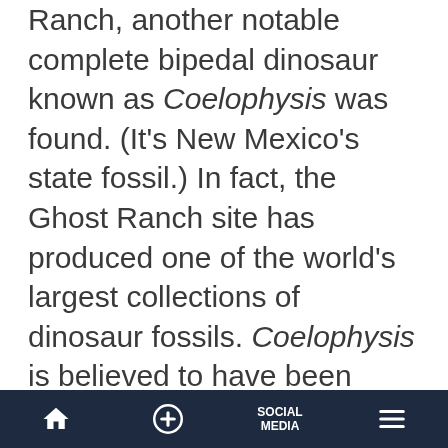Ranch, another notable complete bipedal dinosaur known as Coelophysis was found. (It's New Mexico's state fossil.) In fact, the Ghost Ranch site has produced one of the world's largest collections of dinosaur fossils. Coelophysis is believed to have been carnivorous because it had curved claws on its hands and a slim head with lots of sharp teeth. It was about twice the size of Eoraptor, growing to 10 feet long. Because many Coelophysis fossils have been dug up in the same locations, scientists think they may have lived together in herds, although their rapid
Home | + | SOCIAL MEDIA | Menu